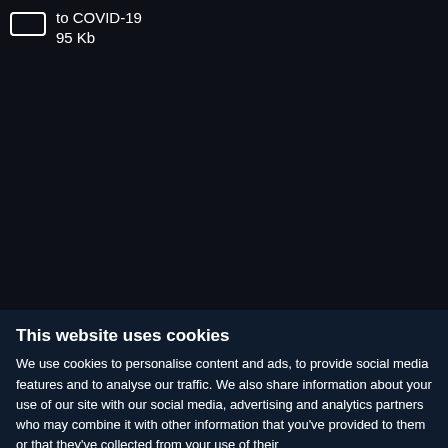to COVID-19
95 Kb
This website uses cookies
We use cookies to personalise content and ads, to provide social media features and to analyse our traffic. We also share information about your use of our site with our social media, advertising and analytics partners who may combine it with other information that you've provided to them or that they've collected from your use of their